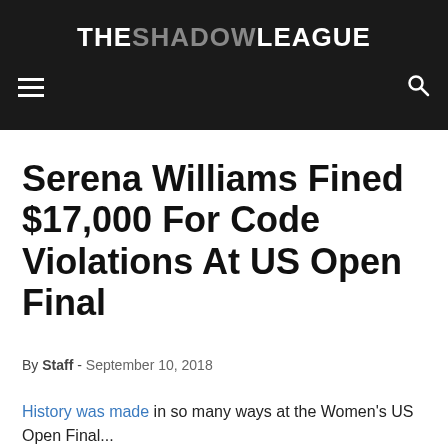THE SHADOW LEAGUE
Serena Williams Fined $17,000 For Code Violations At US Open Final
By Staff - September 10, 2018
History was made in so many ways at the Women's US Open Final...